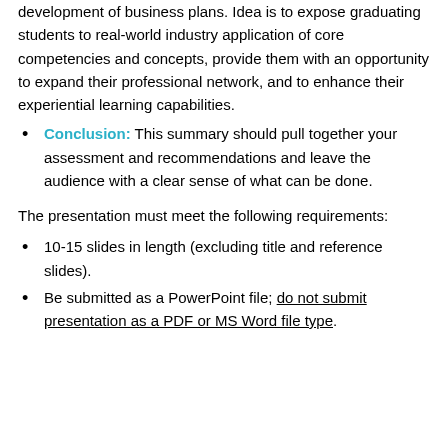development of business plans. Idea is to expose graduating students to real-world industry application of core competencies and concepts, provide them with an opportunity to expand their professional network, and to enhance their experiential learning capabilities.
Conclusion: This summary should pull together your assessment and recommendations and leave the audience with a clear sense of what can be done.
The presentation must meet the following requirements:
10-15 slides in length (excluding title and reference slides).
Be submitted as a PowerPoint file; do not submit presentation as a PDF or MS Word file type.